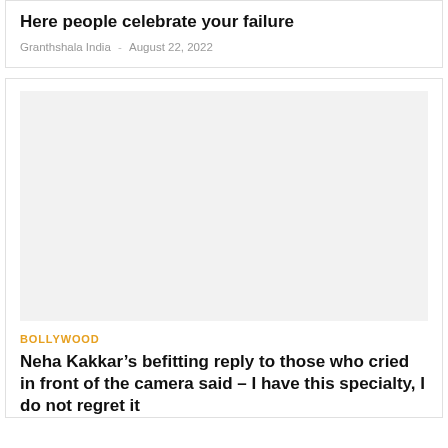Here people celebrate your failure
Granthshala India - August 22, 2022
[Figure (photo): Large image placeholder (light gray background) for a Bollywood article]
BOLLYWOOD
Neha Kakkar’s befitting reply to those who cried in front of the camera said – I have this specialty, I do not regret it